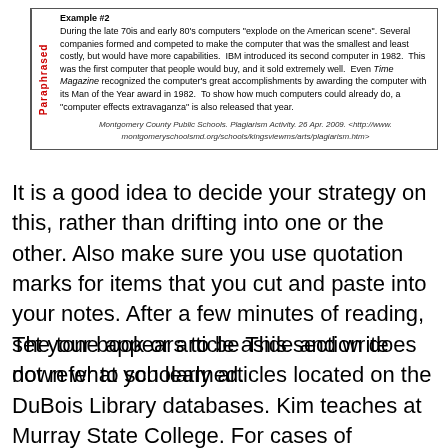Example #2
During the late 70is and early 80's computers "explode on the American scene". Several companies formed and competed to make the computer that was the smallest and least costly, but would have more capabilities.  IBM introduced its second computer in 1982.  This was the first computer that people would buy, and it sold extremely well.  Even Time Magazine recognized the computer's great accomplishments by awarding the computer with its Man of the Year award in 1982.  To show how much computers could already do, a "computer effects extravaganza" is also released that year.
Montgomery County Public Schools. Plagiarism Activity. 26 Apr. 2009. <http://www.montgomeryschoolsmd.org/schools/kingsviewms/arts/plagiarism.htm>
It is a good idea to decide your strategy on this, rather than drifting into one or the other. Also make sure you use quotation marks for items that you cut and paste into your notes. After a few minutes of reading, set your book or article aside and write down what you learned.
The tone appears to be This section does not refer to scholarly articles located on the DuBois Library databases. Kim teaches at Murray State College. For cases of repeated plagiarism, or for cases in which a student commits severe